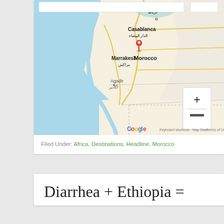[Figure (map): Google Maps screenshot showing Morocco with a red location pin near Casablanca. Cities labeled include Rabat (الرباط), Casablanca (الدار البيضاء), Marrakesh (مراكش), and Agadir (أگادير). The map shows road networks, coastline, and surrounding terrain. Google branding and controls visible.]
Filed Under: Africa, Destinations, Headline, Morocco
Diarrhea + Ethiopia =